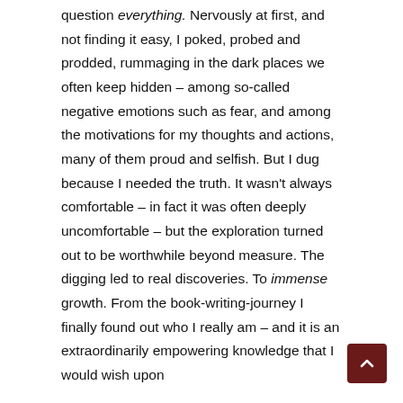question everything. Nervously at first, and not finding it easy, I poked, probed and prodded, rummaging in the dark places we often keep hidden – among so-called negative emotions such as fear, and among the motivations for my thoughts and actions, many of them proud and selfish. But I dug because I needed the truth. It wasn't always comfortable – in fact it was often deeply uncomfortable – but the exploration turned out to be worthwhile beyond measure. The digging led to real discoveries. To immense growth. From the book-writing-journey I finally found out who I really am – and it is an extraordinarily empowering knowledge that I would wish upon